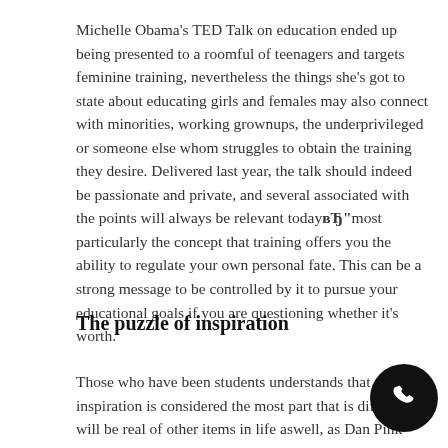Michelle Obama's TED Talk on education ended up being presented to a roomful of teenagers and targets feminine training, nevertheless the things she's got to state about educating girls and females may also connect with minorities, working grownups, the underprivileged or someone else whom struggles to obtain the training they desire. Delivered last year, the talk should indeed be passionate and private, and several associated with the points will always be relevant todayвЂ"most particularly the concept that training offers you the ability to regulate your own personal fate. This can be a strong message to be controlled by it to pursue your educational goals if you are questioning whether it's worth.
The puzzle of inspiration
Those who have been students understands that some inspiration is considered the most part that is difficult. It will be real of other items in life aswell, as Dan Pink explores